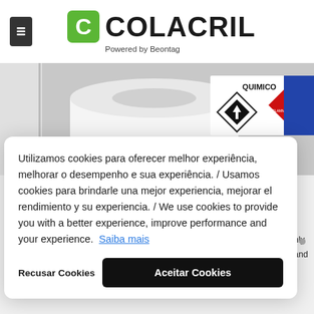[Figure (logo): Colacril logo with green C icon and 'Powered by Beontag' tagline, plus hamburger menu icon on the left]
[Figure (photo): Product label rolls showing chemical/hazmat label with flammable liquid diamond symbol and QUIMICO text]
Utilizamos cookies para oferecer melhor experiência, melhorar o desempenho e sua experiência. / Usamos cookies para brindarle una mejor experiencia, mejorar el rendimiento y su experiencia. / We use cookies to provide you with a better experience, improve performance and your experience.  Saiba mais
Recusar Cookies
Aceitar Cookies